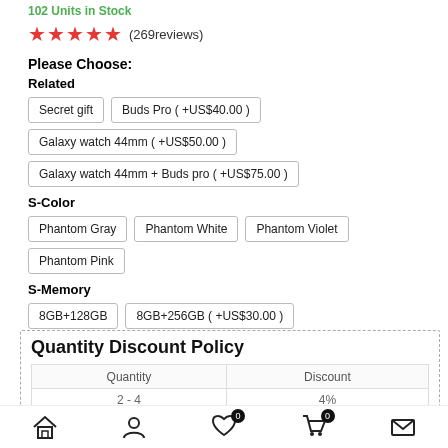102 Units in Stock
★★★★★ (269reviews)
Please Choose:
Related
Secret gift
Buds Pro ( +US$40.00 )
Galaxy watch 44mm ( +US$50.00 )
Galaxy watch 44mm + Buds pro ( +US$75.00 )
S-Color
Phantom Gray
Phantom White
Phantom Violet
Phantom Pink
S-Memory
8GB+128GB
8GB+256GB ( +US$30.00 )
Quantity Discount Policy
| Quantity | Discount |
| --- | --- |
| 2 - 4 | 4% |